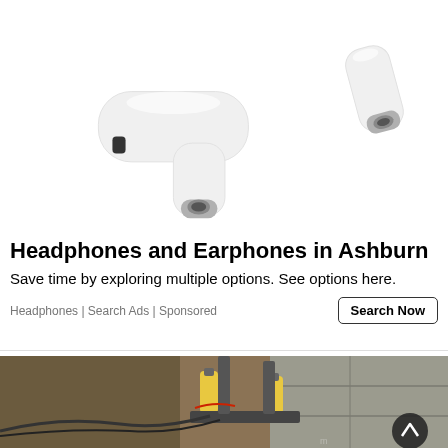[Figure (photo): Two white wireless earbuds (AirPods-style) on a white background, showing the stem and speaker grille with metal accents]
Headphones and Earphones in Ashburn
Save time by exploring multiple options. See options here.
Headphones | Search Ads | Sponsored
[Figure (photo): Construction photo showing hydraulic jacking equipment mounted on a concrete foundation wall, with yellow-marked cylinders and cables/wires in a dirt excavation pit. A dark circular scroll-up button is visible in the lower right corner.]